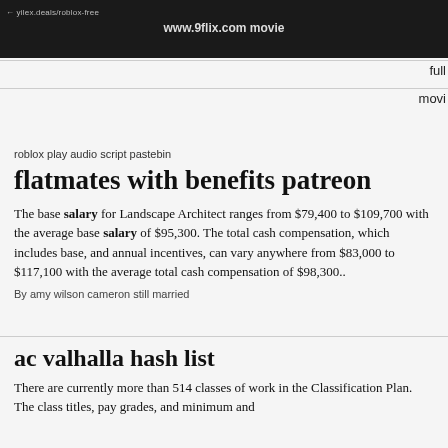www.9flix.com movie
full
movi
roblox play audio script pastebin
flatmates with benefits patreon
The base salary for Landscape Architect ranges from $79,400 to $109,700 with the average base salary of $95,300. The total cash compensation, which includes base, and annual incentives, can vary anywhere from $83,000 to $117,100 with the average total cash compensation of $98,300..
By amy wilson cameron still married
ac valhalla hash list
There are currently more than 514 classes of work in the Classification Plan. The class titles, pay grades, and minimum and